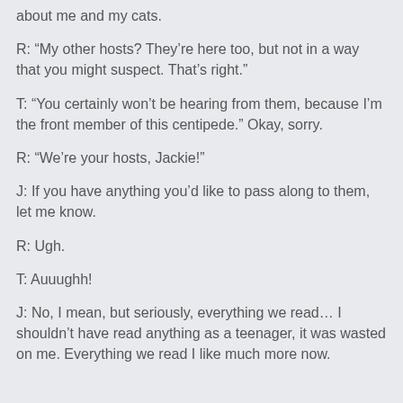about me and my cats.
R: “My other hosts? They’re here too, but not in a way that you might suspect. That’s right.”
T: “You certainly won’t be hearing from them, because I’m the front member of this centipede.” Okay, sorry.
R: “We’re your hosts, Jackie!”
J: If you have anything you’d like to pass along to them, let me know.
R: Ugh.
T: Auuughh!
J: No, I mean, but seriously, everything we read… I shouldn’t have read anything as a teenager, it was wasted on me. Everything we read I like much more now.